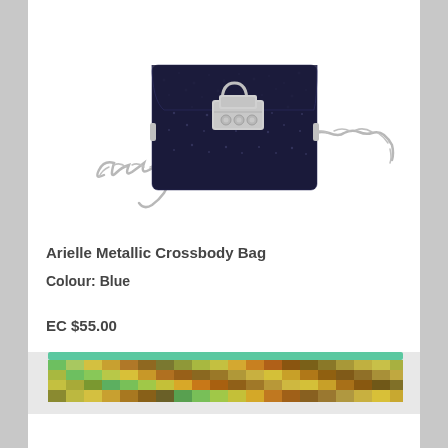[Figure (photo): A navy blue metallic tweed crossbody bag with a silver chain strap and silver clasp/lock hardware, photographed on white background.]
Arielle Metallic Crossbody Bag
Colour: Blue
EC $55.00
[Figure (photo): Bottom portion of a multicolored woven/knit item with green, yellow, and brown zigzag or striped pattern, partially visible at the bottom of the page.]